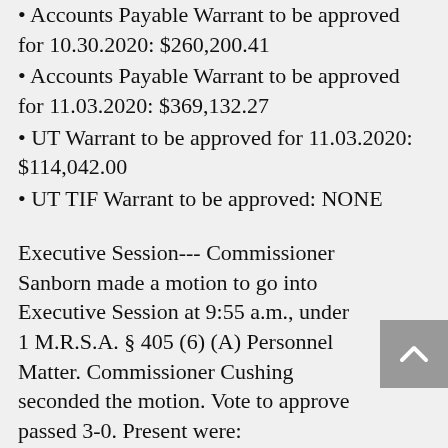Accounts Payable Warrant to be approved for 10.30.2020: $260,200.41
Accounts Payable Warrant to be approved for 11.03.2020: $369,132.27
UT Warrant to be approved for 11.03.2020: $114,042.00
UT TIF Warrant to be approved: NONE
Executive Session--- Commissioner Sanborn made a motion to go into Executive Session at 9:55 a.m., under 1 M.R.S.A. § 405 (6) (A) Personnel Matter. Commissioner Cushing seconded the motion. Vote to approve passed 3-0. Present were: Commissioners, Administrator Collins, Deputy Josh Lilley and